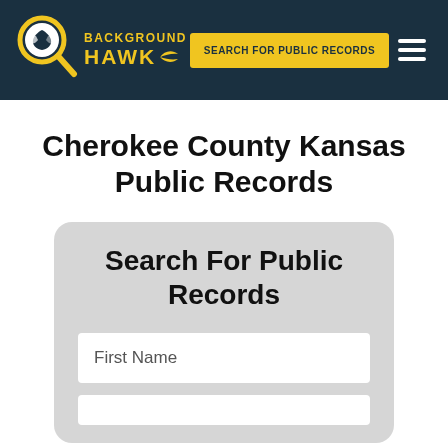BACKGROUND HAWK — SEARCH FOR PUBLIC RECORDS
Cherokee County Kansas Public Records
Search For Public Records
First Name